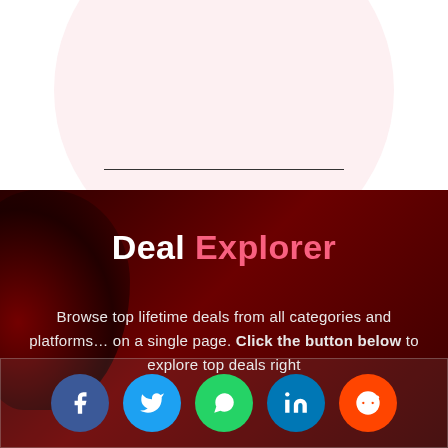[Figure (illustration): Top white section with a large light pink circle shape and a thin horizontal divider line below it]
Deal Explorer
Browse top lifetime deals from all categories and platforms… on a single page. Click the button below to explore top deals right
[Figure (infographic): Social sharing bar with five circular icon buttons: Facebook (blue), Twitter (light blue), WhatsApp (green), LinkedIn (teal blue), Reddit (orange)]